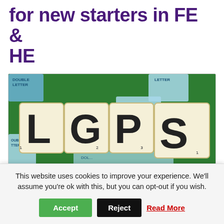for new starters in FE & HE
[Figure (photo): Scrabble tiles spelling out 'LGPS' on a green Scrabble board, with double letter score squares visible in the background]
The Ministry of Housing, Communities and Local Government (MHCLG) has launched a consultation on proposed changes to the regulations that apply to the Local Government Pension Scheme (LGPS).
This website uses cookies to improve your experience. We'll assume you're ok with this, but you can opt-out if you wish.